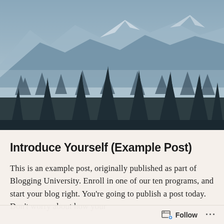[Figure (illustration): Mountain landscape with pine tree silhouettes in foreground against a misty blue-grey mountain range background. Dark evergreen trees fill the lower portion, with layered mountain peaks fading into a hazy blue-grey sky.]
Introduce Yourself (Example Post)
This is an example post, originally published as part of Blogging University. Enroll in one of our ten programs, and start your blog right. You’re going to publish a post today. Don’t worry about how your
Follow ...